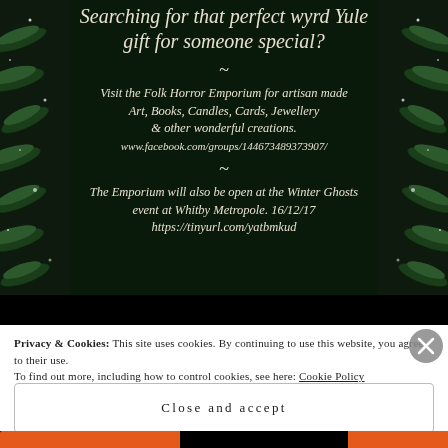[Figure (illustration): Dark green background with pine/fir branches on left and right sides with bokeh/sparkle effects, containing white italic text advertising the Folk Horror Emporium Yule gift shop]
Searching for that perfect wyrd Yule gift for someone special?
Visit the Folk Horror Emporium for artisan made Art, Books, Candles, Cards, Jewellery & other wonderful creations. www.facebook.com/groups/144673489373907/
The Emporium will also be open at the Winter Ghosts event at Whitby Metropole. 16/12/17 https://tinyurl.com/yatbmkud
Privacy & Cookies: This site uses cookies. By continuing to use this website, you agree to their use. To find out more, including how to control cookies, see here: Cookie Policy
Close and accept